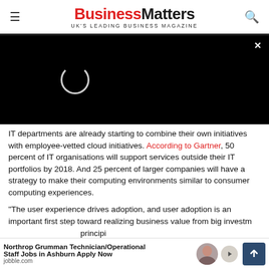Business Matters — UK'S LEADING BUSINESS MAGAZINE
[Figure (screenshot): Black video player area with loading spinner and close button (×)]
IT departments are already starting to combine their own initiatives with employee-vetted cloud initiatives. According to Gartner, 50 percent of IT organisations will support services outside their IT portfolios by 2018. And 25 percent of larger companies will have a strategy to make their computing environments similar to consumer computing experiences.
“The user experience drives adoption, and user adoption is an important first step toward realizing business value from big investm... principi...
[Figure (screenshot): Advertisement bar: Northrop Grumman Technician/Operational Staff Jobs in Ashburn Apply Now — jobble.com, with a woman photo and icons]